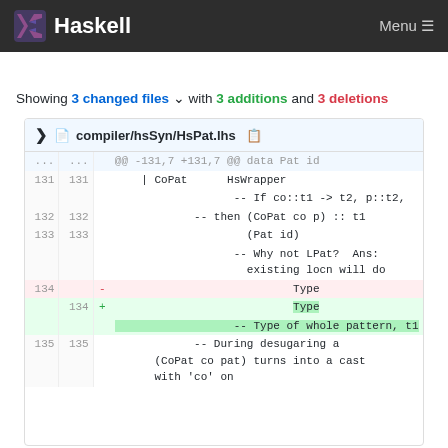Haskell  Menu
Showing 3 changed files with 3 additions and 3 deletions
| old ln | new ln | sign | code |
| --- | --- | --- | --- |
| ... | ... |  | @@ -131,7 +131,7 @@ data Pat id |
| 131 | 131 |  | | CoPat      HsWrapper |
|  |  |  | -- If co::t1 -> t2, p::t2, |
| 132 | 132 |  | -- then (CoPat co p) :: t1 |
| 133 | 133 |  | (Pat id) |
|  |  |  | -- Why not LPat?  Ans: existing locn will do |
| 134 |  | - | Type |
|  | 134 | + | Type |
|  |  |  | -- Type of whole pattern, t1 |
| 135 | 135 |  | -- During desugaring a (CoPat co pat) turns into a cast with 'co' on |